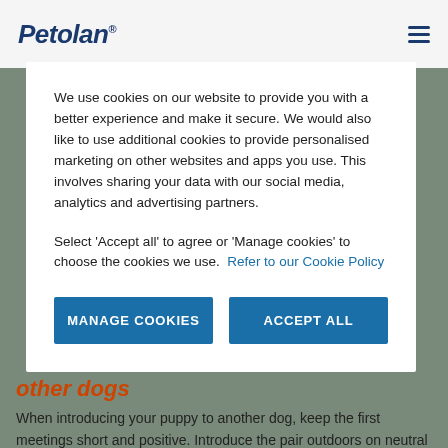Petolan®
We use cookies on our website to provide you with a better experience and make it secure. We would also like to use additional cookies to provide personalised marketing on other websites and apps you use. This involves sharing your data with our social media, analytics and advertising partners.
Select 'Accept all' to agree or 'Manage cookies' to choose the cookies we use. Refer to our Cookie Policy
MANAGE COOKIES
ACCEPT ALL
Other dogs
When introducing your puppy to another dog, keep the first meetings short and positive. Introduce the pair outdoors on neutral territory if possible, perhaps in a local park. Keep the puppy on a lead and let the dogs see each other from